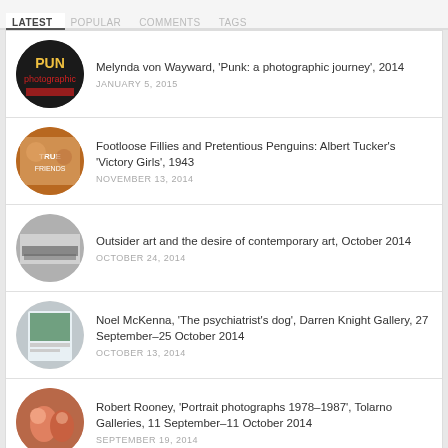LATEST | POPULAR | COMMENTS | TAGS
Melynda von Wayward, 'Punk: a photographic journey', 2014
Footloose Fillies and Pretentious Penguins: Albert Tucker's 'Victory Girls', 1943
Outsider art and the desire of contemporary art, October 2014
Noel McKenna, 'The psychiatrist's dog', Darren Knight Gallery, 27 September–25 October 2014
Robert Rooney, 'Portrait photographs 1978–1987', Tolarno Galleries, 11 September–11 October 2014